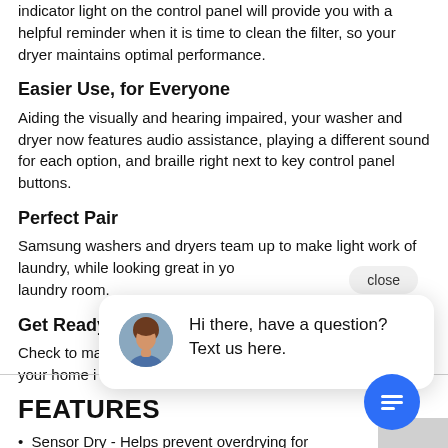indicator light on the control panel will provide you with a helpful reminder when it is time to clean the filter, so your dryer maintains optimal performance.
Easier Use, for Everyone
Aiding the visually and hearing impaired, your washer and dryer now features audio assistance, playing a different sound for each option, and braille right next to key control panel buttons.
Perfect Pair
Samsung washers and dryers team up to make light work of laundry, while looking great in your laundry room.
Get Ready
Check to make sure your home is...
FEATURES
Sensor Dry - Helps prevent overdrying for...
[Figure (other): Chat widget overlay with close button, avatar of a woman, and message 'Hi there, have a question? Text us here.' and a blue chat icon button.]